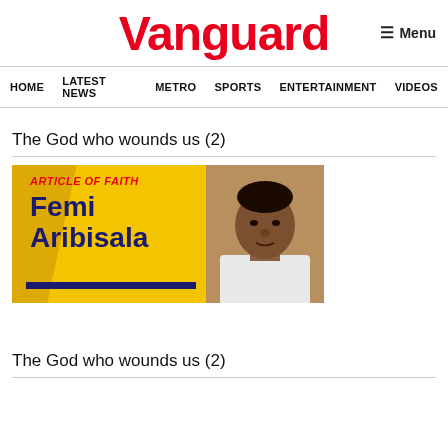Vanguard
HOME  LATEST NEWS  METRO  SPORTS  ENTERTAINMENT  VIDEOS
The God who wounds us (2)
[Figure (illustration): Article of Faith banner for Femi Aribisala with yellow background, red italic text 'ARTICLE OF FAITH', dark blue bold text 'Femi Aribisala', a dark blue horizontal stripe at bottom, and a photo of a middle-aged Black man on the right side.]
The God who wounds us (2)